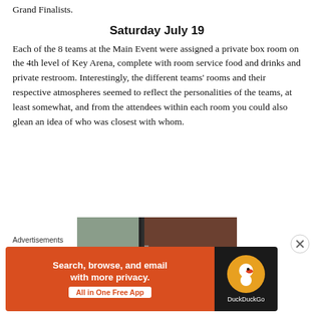Grand Finalists.
Saturday July 19
Each of the 8 teams at the Main Event were assigned a private box room on the 4th level of Key Arena, complete with room service food and drinks and private restroom. Interestingly, the different teams' rooms and their respective atmospheres seemed to reflect the personalities of the teams, at least somewhat, and from the attendees within each room you could also glean an idea of who was closest with whom.
[Figure (photo): Partial view of what appears to be a door or entrance area with green/grey and brown/dark wood tones]
Advertisements
[Figure (screenshot): DuckDuckGo advertisement banner: 'Search, browse, and email with more privacy. All in One Free App' with DuckDuckGo logo on dark background]